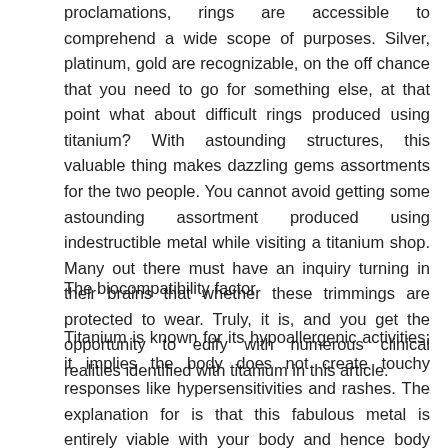proclamations, rings are accessible to comprehend a wide scope of purposes. Silver, platinum, gold are recognizable, on the off chance that you need to go for something else, at that point what about difficult rings produced using titanium? With astounding structures, this valuable thing makes dazzling gems assortments for the two people. You cannot avoid getting some astounding assortment produced using indestructible metal while visiting a titanium shop. Many out there must have an inquiry turning in their brains that whether these trimmings are protected to wear. Truly, it is, and you get the opportunity to edify with numerous clinical realities identified with titanium in this article.
The biocompatibility factor
Titanium is known for its hypoallergenic activities; it implies the body does not create touchy responses like hypersensitivities and rashes. The explanation for is that this fabulous metal is entirely viable with your body and hence body frameworks do not recognize it as an unfamiliar